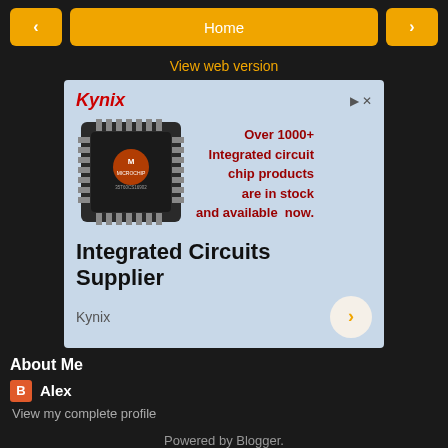< Home >
View web version
[Figure (screenshot): Kynix advertisement banner showing a Microchip integrated circuit with text 'Over 1000+ Integrated circuit chip products are in stock and available now.' and headline 'Integrated Circuits Supplier' with Kynix branding.]
About Me
Alex
View my complete profile
Powered by Blogger.